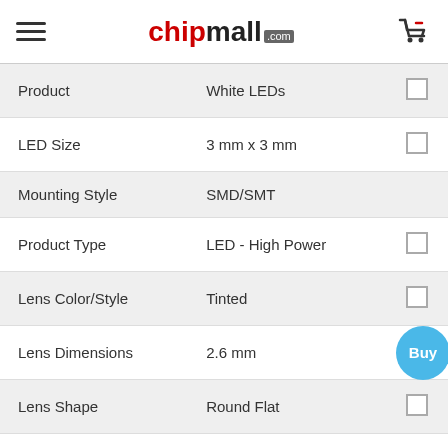chipmall.com
| Property | Value |  |
| --- | --- | --- |
| Product | White LEDs |  |
| LED Size | 3 mm x 3 mm |  |
| Mounting Style | SMD/SMT |  |
| Product Type | LED - High Power |  |
| Lens Color/Style | Tinted |  |
| Lens Dimensions | 2.6 mm |  |
| Lens Shape | Round Flat |  |
| Package / Case | 3030 |  |